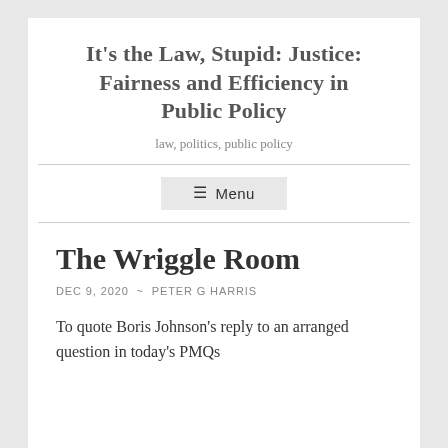It's the Law, Stupid: Justice: Fairness and Efficiency in Public Policy
law, politics, public policy
☰ Menu
The Wriggle Room
DEC 9, 2020 ~ PETER G HARRIS
To quote Boris Johnson's reply to an arranged question in today's PMQs